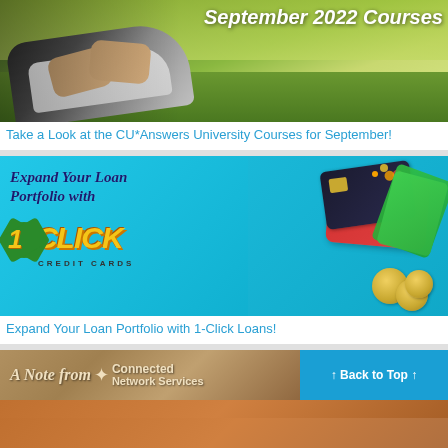[Figure (photo): Banner image showing someone tying running shoes on grass with text 'September 2022 Courses' overlay]
Take a Look at the CU*Answers University Courses for September!
[Figure (illustration): Promotional banner for 1-Click Credit Cards showing wallet, credit cards, and coins on cyan background with text 'Expand Your Loan Portfolio with 1-CLICK CREDIT CARDS']
Expand Your Loan Portfolio with 1-Click Loans!
[Figure (illustration): Banner reading 'A Note from Network Services' with a 'Back to Top' button on the right side in blue]